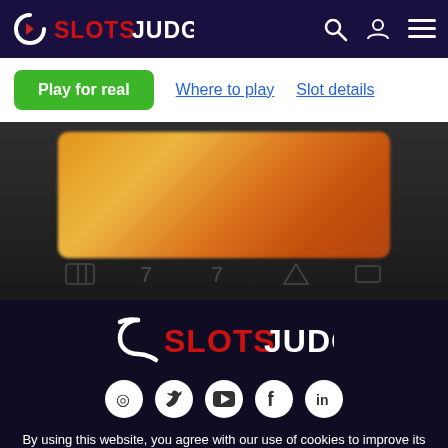SLOTSJUDGE — navigation bar with logo, search, user, and menu icons
Play for real | Where to play | Slot details
[Figure (screenshot): Blurred orange/gold slot machine preview image inside a dark background with decorative slot symbols at bottom]
[Figure (logo): SlotSJudge footer logo with red S icon and SLOTS in red, JUDGE in white]
[Figure (infographic): Social media icons row: Pinterest, Twitter, YouTube, Facebook, LinkedIn — white circles on dark background]
By using this website, you agree with our use of cookies to improve its performance and enhance your user experience. More info in our cookies policy page.
Ok
© Copyright SlotSJudge 2022.